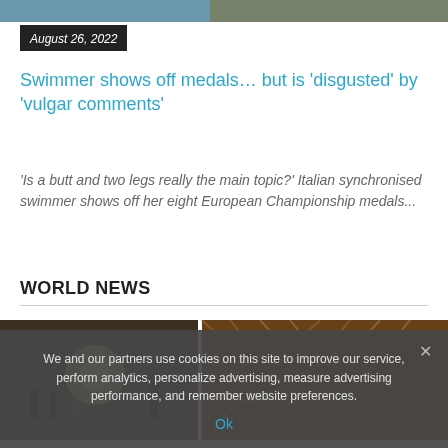[Figure (photo): Top cropped image showing two sports/swimming related photos side by side]
August 26, 2022
Swimmer shows off medals… but is 'disgusted' by 'vulgar comments'
'Is a butt and two legs really the main topic?' Italian synchronised swimmer shows off her eight European Championship medals...
WORLD NEWS
[Figure (photo): Two photos of ornate cathedral/church interiors side by side]
We and our partners use cookies on this site to improve our service, perform analytics, personalize advertising, measure advertising performance, and remember website preferences.